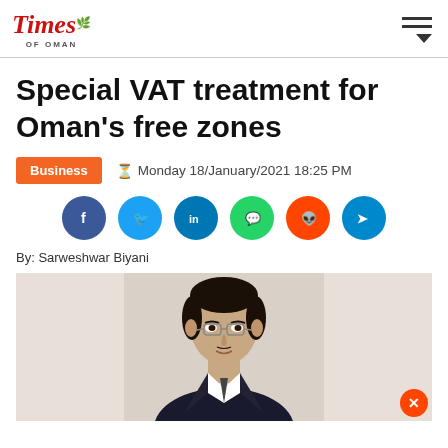Times of Oman
Special VAT treatment for Oman's free zones
Business | Monday 18/January/2021 18:25 PM
[Figure (other): Social media share buttons: Facebook, Twitter, LinkedIn, WhatsApp, Reddit, Telegram]
By: Sarweshwar Biyani
[Figure (photo): Portrait photo of a man with glasses and dark hair, wearing a dark suit, cropped at the shoulders]